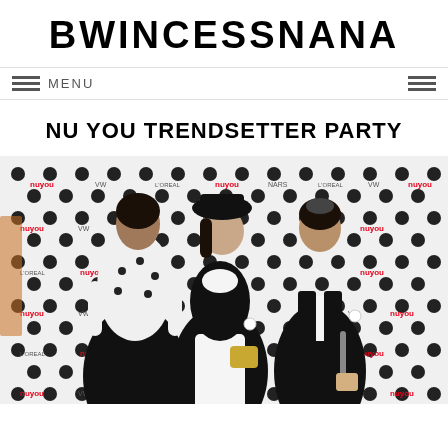BWINCESSNANA
MENU
NU YOU TRENDSETTER PARTY
[Figure (photo): Three women posing at a NuYou Trendsetter Party event. They stand in front of a branded step-and-repeat backdrop featuring NuYou, Volkswagen, L'Oreal Paris, NARS, and other sponsor logos with a polka dot pattern. The women are dressed in fashionable black and white outfits.]